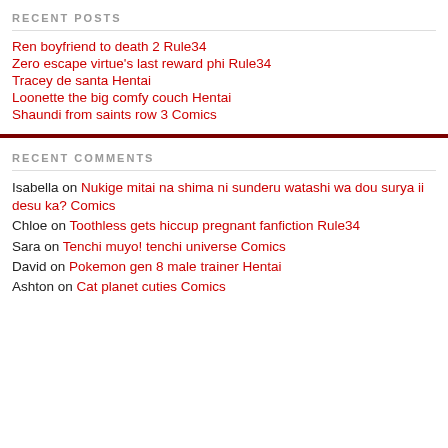RECENT POSTS
Ren boyfriend to death 2 Rule34
Zero escape virtue's last reward phi Rule34
Tracey de santa Hentai
Loonette the big comfy couch Hentai
Shaundi from saints row 3 Comics
RECENT COMMENTS
Isabella on Nukige mitai na shima ni sunderu watashi wa dou surya ii desu ka? Comics
Chloe on Toothless gets hiccup pregnant fanfiction Rule34
Sara on Tenchi muyo! tenchi universe Comics
David on Pokemon gen 8 male trainer Hentai
Ashton on Cat planet cuties Comics